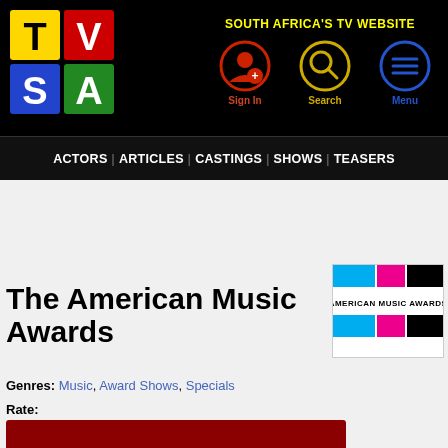[Figure (logo): TVSA logo - colorful letter blocks T, V, S, A on black background]
SOUTH AFRICA'S TV WEBSITE
[Figure (illustration): Sign In icon - red circle with person silhouette]
[Figure (illustration): Search icon - yellow circle with magnifying glass]
[Figure (illustration): Menu icon - blue circle with three horizontal lines]
ACTORS | ARTICLES | CASTINGS | SHOWS | TEASERS
The American Music Awards
[Figure (logo): American Music Awards logo with cyan, magenta, and black color blocks]
Genres: Music, Award Shows, Specials
Rate: